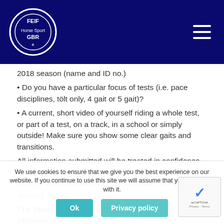FEIF / Horse Sport GB logo and navigation
2018 season (name and ID no.)
• Do you have a particular focus of tests (i.e. pace disciplines, tölt only, 4 gait or 5 gait)?
• A current, short video of yourself riding a whole test, or part of a test, on a track, in a school or simply outside! Make sure you show some clear gaits and transitions.
All information submitted will be treated in confidence. Riders must be 15 years or older (on 1st January 2018). Horses should be 5 years or older (on 1st January 2018).
The Sport Squad will be made up of a 3 tier platform:
Sport C:
Those who wish to further their development as a sport rider with support to improve performance, understanding
We use cookies to ensure that we give you the best experience on our website. If you continue to use this site we will assume that you are happy with it.